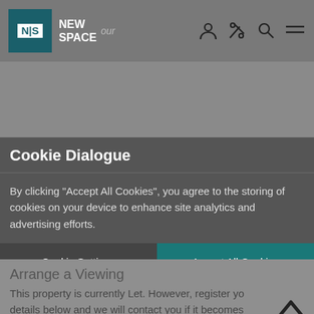NEW SPACE
Cookie Dialogue
By clicking "Accept All Cookies", you agree to the storing of cookies on your device to enhance site analytics and advertising efforts.
Cookie Settings
Accept All Cookies
Arrange a Viewing
This property is currently Let. However, register your details below and we will contact you if it becomes